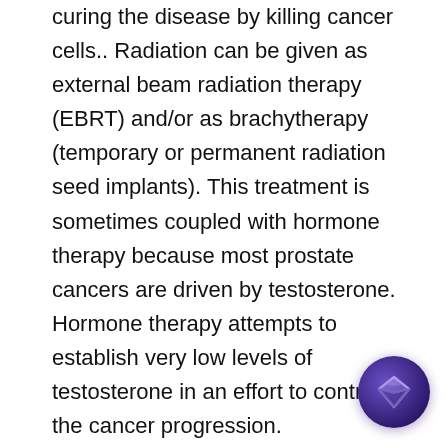curing the disease by killing cancer cells.. Radiation can be given as external beam radiation therapy (EBRT) and/or as brachytherapy (temporary or permanent radiation seed implants). This treatment is sometimes coupled with hormone therapy because most prostate cancers are driven by testosterone. Hormone therapy attempts to establish very low levels of testosterone in an effort to control the cancer progression.
Brachytherapy (Seed Implants)
With brachytherapy, radiation is given from inside the body, with radioactive seeds placed permanently in the prostate, or with
[Figure (illustration): A dark purple circular app icon with a diamond/gem shape in the center, positioned in the bottom-right corner of the page.]